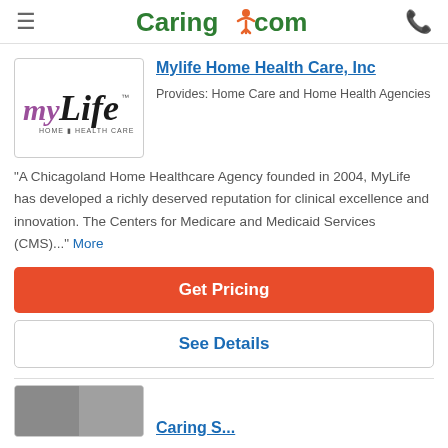Caring.com
[Figure (logo): myLife Home Health Care logo with purple and black stylized text]
Mylife Home Health Care, Inc
Provides: Home Care and Home Health Agencies
"A Chicagoland Home Healthcare Agency founded in 2004, MyLife has developed a richly deserved reputation for clinical excellence and innovation. The Centers for Medicare and Medicaid Services (CMS)..." More
Get Pricing
See Details